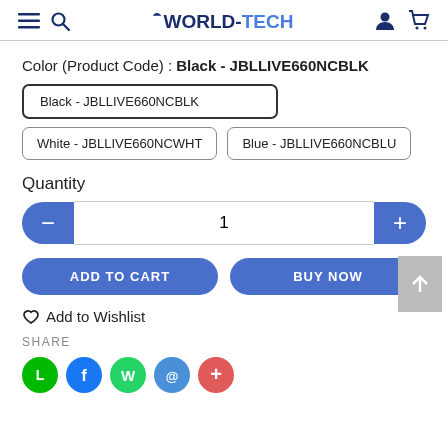WORLD-TECH
Color (Product Code) : Black - JBLLIVE660NCBLK
Black - JBLLIVE660NCBLK
White - JBLLIVE660NCWHT
Blue - JBLLIVE660NCBLU
Quantity
1
ADD TO CART
BUY NOW
Add to Wishlist
SHARE